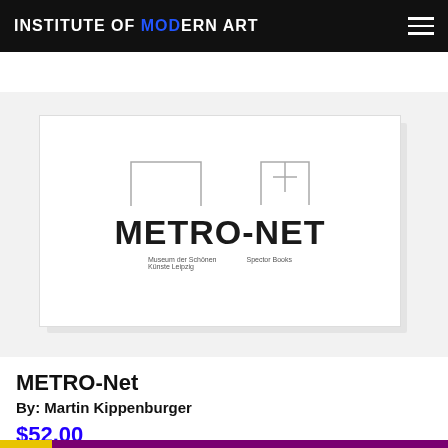INSTITUTE OF MODERN ART
↓ ↓ IMA SHOP
[Figure (photo): Book cover of METRO-Net by Martin Kippenburger, white cover with bold black uppercase title text and geometric line shapes at top]
METRO-Net
By: Martin Kippenburger
$52.00